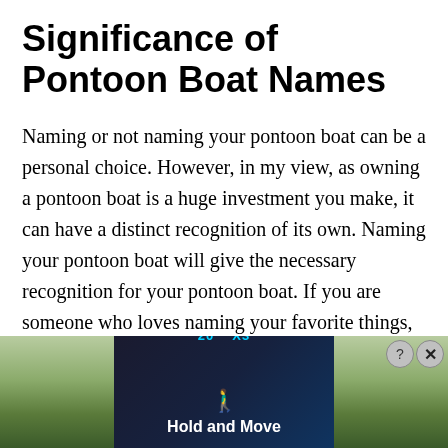Significance of Pontoon Boat Names
Naming or not naming your pontoon boat can be a personal choice. However, in my view, as owning a pontoon boat is a huge investment you make, it can have a distinct recognition of its own. Naming your pontoon boat will give the necessary recognition for your pontoon boat. If you are someone who loves naming your favorite things, then why not have a good name for your pontoon boat. You have a name for your pet, your house, etc. Naming the pontoon boat will bring in the joy every time you address her. It becomes
[Figure (photo): Advertisement overlay showing a dark panel with 'Hold and Move' text and icon, over a background photo of trees. Close button (? and X) in top right corner.]